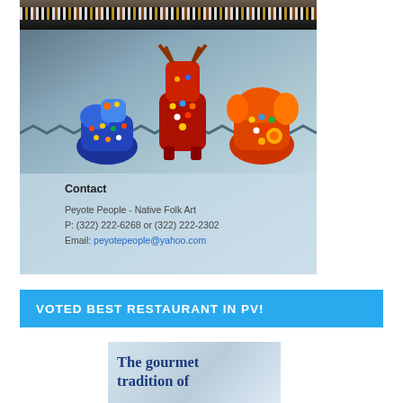[Figure (photo): Top portion shows a dark background with decorative beaded/woven textile strip visible at top, above a blue-toned panel displaying three colorful Huichol beaded animal figurines (deer/dog shapes) decorated with multicolor bead patterns in red, blue, orange and yellow]
Contact
Peyote People - Native Folk Art
P: (322) 222-6268 or (322) 222-2302
Email: peyotepeople@yahoo.com
VOTED BEST RESTAURANT IN PV!
[Figure (photo): Partial view of a restaurant advertisement showing the text 'The gourmet tradition of' on a light blue/silver background with glassware visible]